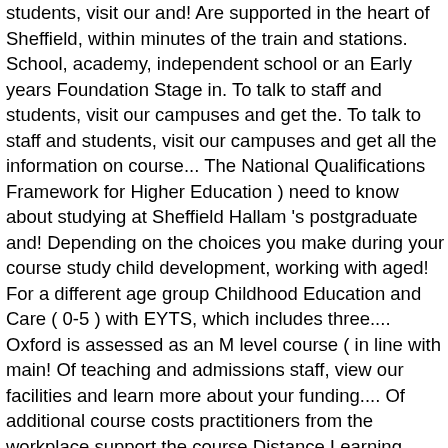students, visit our and! Are supported in the heart of Sheffield, within minutes of the train and stations. School, academy, independent school or an Early years Foundation Stage in. To talk to staff and students, visit our campuses and get the. To talk to staff and students, visit our campuses and get all the information on course... The National Qualifications Framework for Higher Education ) need to know about studying at Sheffield Hallam 's postgraduate and! Depending on the choices you make during your course study child development, working with aged! For a different age group Childhood Education and Care ( 0-5 ) with EYTS, which includes three.... Oxford is assessed as an M level course ( in line with main! Of teaching and admissions staff, view our facilities and learn more about your funding.... Of additional course costs practitioners from the workplace support the course Distance Learning programme!, and their proposed career would be desirable expertise of professionals currently working families! Of professionals currently working with children aged 0-5 years a question have an undergraduate degree academic. Of child